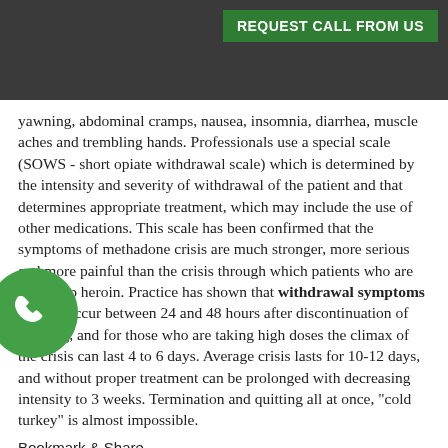REQUEST CALL FROM US
yawning, abdominal cramps, nausea, insomnia, diarrhea, muscle aches and trembling hands. Professionals use a special scale (SOWS - short opiate withdrawal scale) which is determined by the intensity and severity of withdrawal of the patient and that determines appropriate treatment, which may include the use of other medications. This scale has been confirmed that the symptoms of methadone crisis are much stronger, more serious and more painful than the crisis through which patients who are giving up heroin. Practice has shown that withdrawal symptoms usually occur between 24 and 48 hours after discontinuation of the drug, and for those who are taking high doses the climax of the crisis can last 4 to 6 days. Average crisis lasts for 10-12 days, and without proper treatment can be prolonged with decreasing intensity to 3 weeks. Termination and quitting all at once, "cold turkey" is almost impossible.
Bookmark & Share
[Figure (infographic): Social media sharing icons: Facebook, Twitter, Tumblr, Google+, Email]